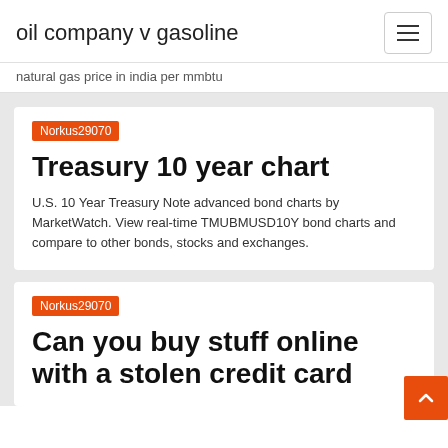oil company v gasoline
natural gas price in india per mmbtu
Norkus29070
Treasury 10 year chart
U.S. 10 Year Treasury Note advanced bond charts by MarketWatch. View real-time TMUBMUSD10Y bond charts and compare to other bonds, stocks and exchanges.
Norkus29070
Can you buy stuff online with a stolen credit card